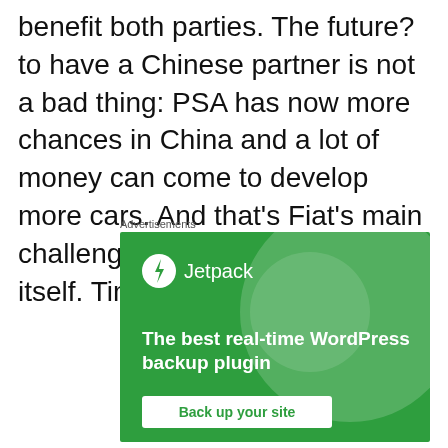benefit both parties. The future? to have a Chinese partner is not a bad thing: PSA has now more chances in China and a lot of money can come to develop more cars. And that's Fiat's main challenge: to grow in China by itself. Time will tell us.
Advertisements
[Figure (other): Jetpack advertisement banner on green background with large decorative circles, Jetpack logo and name at top, headline 'The best real-time WordPress backup plugin', and a white button 'Back up your site']